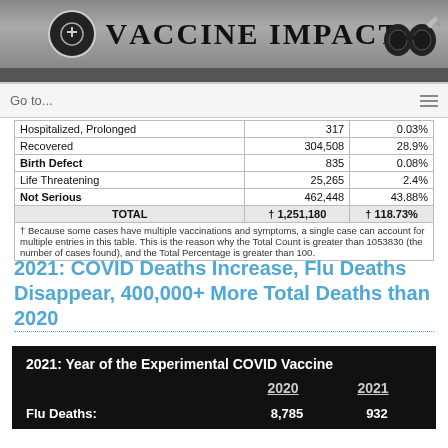Vaccine Impact
|  | Count | Percentage |
| --- | --- | --- |
| Hospitalized, Prolonged | 317 | 0.03% |
| Recovered | 304,508 | 28.9% |
| Birth Defect | 835 | 0.08% |
| Life Threatening | 25,265 | 2.4% |
| Not Serious | 462,448 | 43.88% |
| TOTAL | † 1,251,180 | † 118.73% |
† Because some cases have multiple vaccinations and symptoms, a single case can account for multiple entries in this table. This is the reason why the Total Count is greater than 1053830 (the number of cases found), and the Total Percentage is greater than 100.
2021: COVID Deaths Increase, Flu Deaths Disappear, 400,000+ More Total Deaths than 2020
[Figure (infographic): Dark background infographic titled '2021: Year of the Experimental COVID Vaccine' showing a comparison table with 2020 and 2021 columns. Flu Deaths: 8,785 (2020) and 932 (2021).]